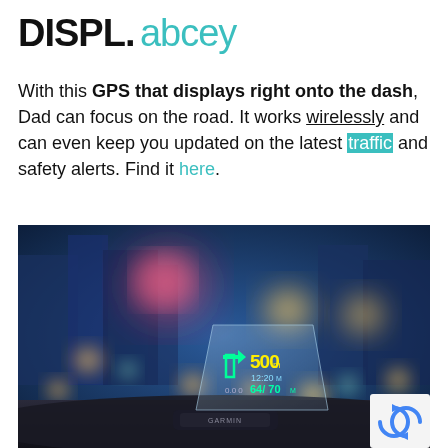DISPL. abcey
With this GPS that displays right onto the dash, Dad can focus on the road. It works wirelessly and can even keep you updated on the latest traffic and safety alerts. Find it here.
[Figure (photo): Garmin HUD (heads-up display) GPS device mounted on a car dashboard projecting navigation info (500m, 12:20, 64/70) onto a transparent screen, bokeh city lights in background at night.]